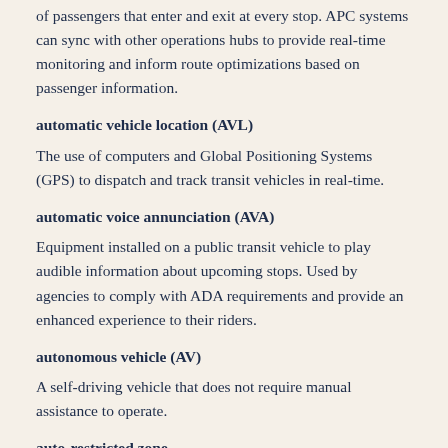of passengers that enter and exit at every stop. APC systems can sync with other operations hubs to provide real-time monitoring and inform route optimizations based on passenger information.
automatic vehicle location (AVL)
The use of computers and Global Positioning Systems (GPS) to dispatch and track transit vehicles in real-time.
automatic voice annunciation (AVA)
Equipment installed on a public transit vehicle to play audible information about upcoming stops. Used by agencies to comply with ADA requirements and provide an enhanced experience to their riders.
autonomous vehicle (AV)
A self-driving vehicle that does not require manual assistance to operate.
auto-restricted zone